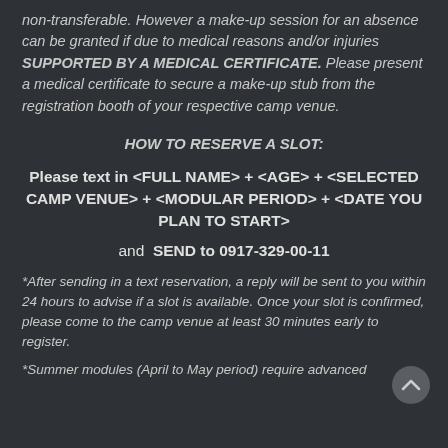non-transferable. However a make-up session for an absence can be granted if due to medical reasons and/or injuries SUPPORTED BY A MEDICAL CERTIFICATE. Please present a medical certificate to secure a make-up stub from the registration booth of your respective camp venue.
HOW TO RESERVE A SLOT:
Please text in <FULL NAME> + <AGE> + <SELECTED CAMP VENUE> + <MODULAR PERIOD> + <DATE YOU PLAN TO START>
and  SEND to 0917-329-00-11
*After sending in a text reservation, a reply will be sent to you within 24 hours to advise if a slot is available. Once your slot is confirmed, please come to the camp venue at least 30 minutes early to register.
*Summer modules (April to May period) require advanced